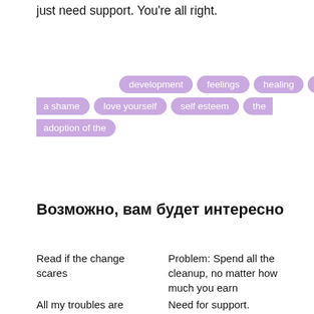just need support. You're all right.
[Figure (infographic): A cluster of purple pill/tag-shaped labels with white text: development, feelings, healing, It's, a shame, love yourself, self esteem, the, adoption of the]
Возможно, вам будет интересно
Read if the change scares
Problem: Spend all the cleanup, no matter how much you earn
All my troubles are
Need for support.